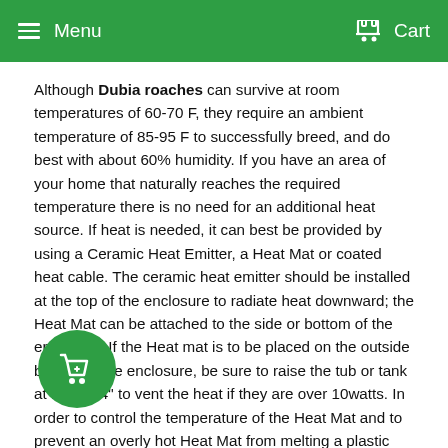Menu   Cart
Although Dubia roaches can survive at room temperatures of 60-70 F, they require an ambient temperature of 85-95 F to successfully breed, and do best with about 60% humidity. If you have an area of your home that naturally reaches the required temperature there is no need for an additional heat source. If heat is needed, it can best be provided by using a Ceramic Heat Emitter, a Heat Mat or coated heat cable. The ceramic heat emitter should be installed at the top of the enclosure to radiate heat downward; the Heat Mat can be attached to the side or bottom of the enclosure. If the Heat mat is to be placed on the outside bottom of the enclosure, be sure to raise the tub or tank at least 1/4" to vent the heat if they are over 10watts. In order to control the temperature of the Heat Mat and to prevent an overly hot Heat Mat from melting a plastic housing, use of a thermostat or a lamp dimmer to keep the temperature in the low 80's.
The warm temperatures and use of water crystals for hydration or regular root veggies (see below) should lead to appropriate